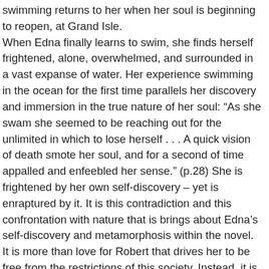swimming returns to her when her soul is beginning to reopen, at Grand Isle. When Edna finally learns to swim, she finds herself frightened, alone, overwhelmed, and surrounded in a vast expanse of water. Her experience swimming in the ocean for the first time parallels her discovery and immersion in the true nature of her soul: “As she swam she seemed to be reaching out for the unlimited in which to lose herself . . . A quick vision of death smote her soul, and for a second of time appalled and enfeebled her sense.” (p.28) She is frightened by her own self-discovery – yet is enraptured by it. It is this contradiction and this confrontation with nature that is brings about Edna’s self-discovery and metamorphosis within the novel. It is more than love for Robert that drives her to be free from the restrictions of this society. Instead, it is her discovery of her own self that